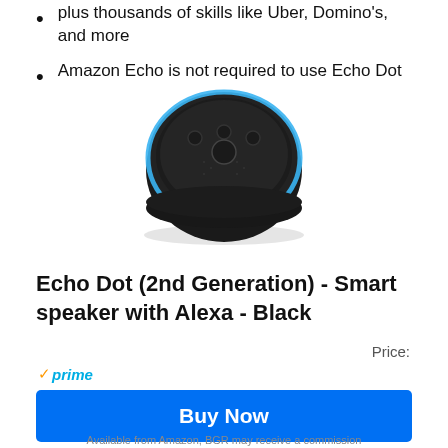plus thousands of skills like Uber, Domino's, and more
Amazon Echo is not required to use Echo Dot
[Figure (photo): Amazon Echo Dot 2nd Generation smart speaker, black circular device with blue ring and amazon logo, viewed from slightly above]
Echo Dot (2nd Generation) - Smart speaker with Alexa - Black
Price:
✓prime
Buy Now
Available from Amazon, BGR may receive a commission